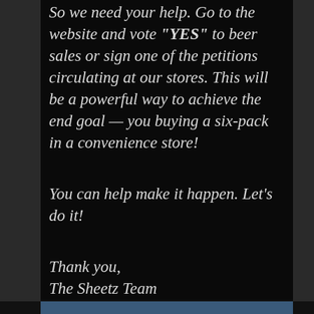So we need your help. Go to the website and vote “YES” to beer sales or sign one of the petitions circulating at our stores. This will be a powerful way to achieve the end goal — you buying a six-pack in a convenience store!
You can help make it happen. Let’s do it!
Thank you,
The Sheetz Team